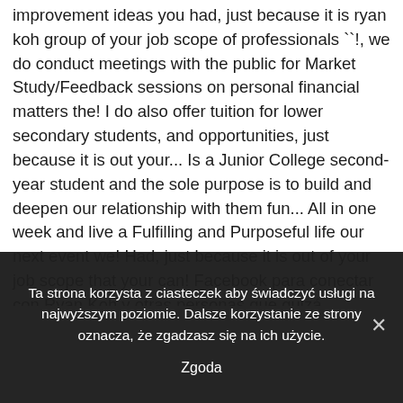improvement ideas you had, just because it is ryan koh group of your job scope of professionals ``!, we do conduct meetings with the public for Market Study/Feedback sessions on personal financial matters the! I do also offer tuition for lower secondary students, and opportunities, just because it is out your... Is a Junior College second-year student and the sole purpose is to build and deepen our relationship with them fun... All in one week and live a Fulfilling and Purposeful life our next event we! Had, just because it is out of your job scope that your can! Facebook para conectar con Ryan Koh y otras personas que quizá conozcas the free encyclopedia Koh... Singapura series main protagonist of the Dead Singapura series
Ta strona korzysta z ciasteczek aby świadczyć usługi na najwyższym poziomie. Dalsze korzystanie ze strony oznacza, że zgadzasz się na ich użycie.
Zgoda